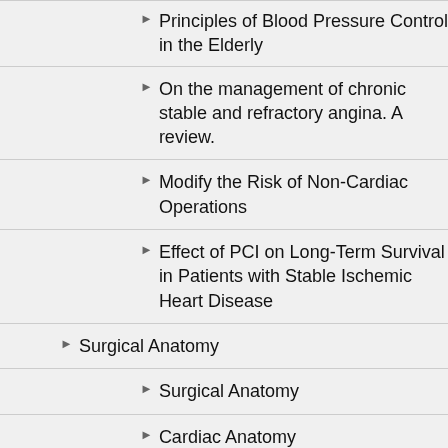Principles of Blood Pressure Control in the Elderly
On the management of chronic stable and refractory angina. A review.
Modify the Risk of Non-Cardiac Operations
Effect of PCI on Long-Term Survival in Patients with Stable Ischemic Heart Disease
Surgical Anatomy
Surgical Anatomy
Cardiac Anatomy
Your Aorta
Mediastinum